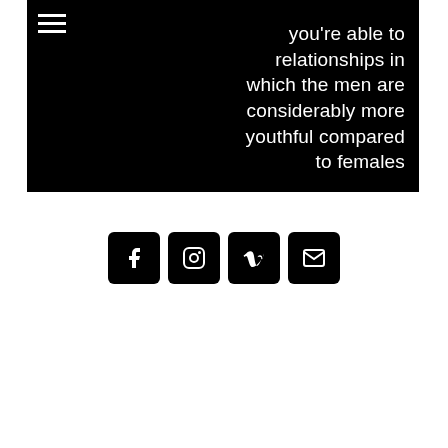you're able to relationships in which the men are considerably more youthful compared to females
[Figure (other): Four social media icon buttons (Facebook, Instagram, Vimeo, Email) displayed as black rounded-square buttons with white icons]